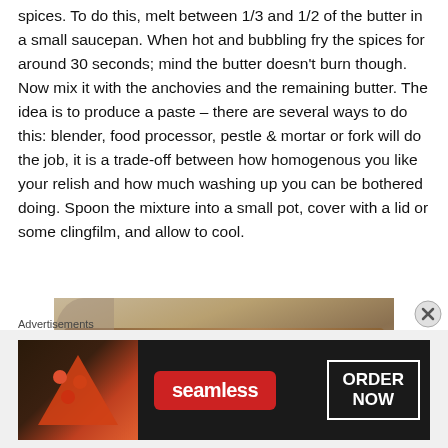spices. To do this, melt between 1/3 and 1/2 of the butter in a small saucepan. When hot and bubbling fry the spices for around 30 seconds; mind the butter doesn't burn though. Now mix it with the anchovies and the remaining butter. The idea is to produce a paste – there are several ways to do this: blender, food processor, pestle & mortar or fork will do the job, it is a trade-off between how homogenous you like your relish and how much washing up you can be bothered doing. Spoon the mixture into a small pot, cover with a lid or some clingfilm, and allow to cool.
[Figure (photo): Photo of food, appears to be a piece of grilled or cooked fish/bread on a surface]
Advertisements
[Figure (photo): Seamless food delivery advertisement showing pizza image with 'seamless' logo and 'ORDER NOW' button]